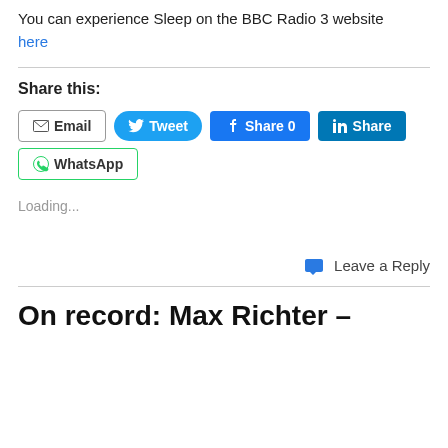You can experience Sleep on the BBC Radio 3 website here
Share this:
[Figure (other): Social share buttons: Email, Tweet, Share 0 (Facebook), Share (LinkedIn), WhatsApp]
Loading...
Leave a Reply
On record: Max Richter –